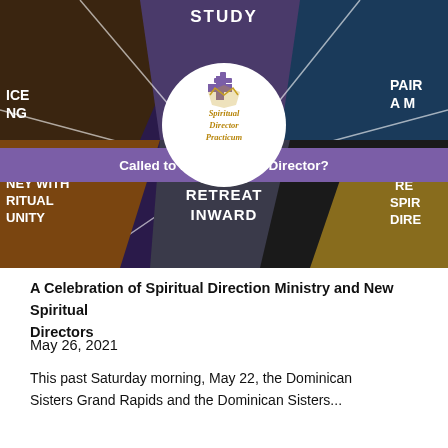[Figure (photo): Spiritual Director Practicum promotional collage image with multiple photo panels showing people in various spiritual activities, a central white circle with logo and 'Spiritual Director Practicum' text, a purple banner reading 'Called to be a Spiritual Director?', and text overlays including STUDY, PAIR A M, ICE, NG, NEY WITH RITUAL UNITY, RETREAT INWARD, RE SPIR DIRE]
A Celebration of Spiritual Direction Ministry and New Spiritual Directors
May 26, 2021
This past Saturday morning, May 22, the Dominican Sisters Grand Rapids and the Dominican Sisters...